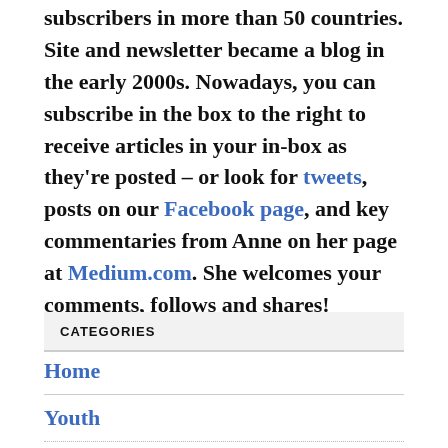subscribers in more than 50 countries. Site and newsletter became a blog in the early 2000s. Nowadays, you can subscribe in the box to the right to receive articles in your in-box as they're posted – or look for tweets, posts on our Facebook page, and key commentaries from Anne on her page at Medium.com. She welcomes your comments, follows and shares!
CATEGORIES
Home
Youth